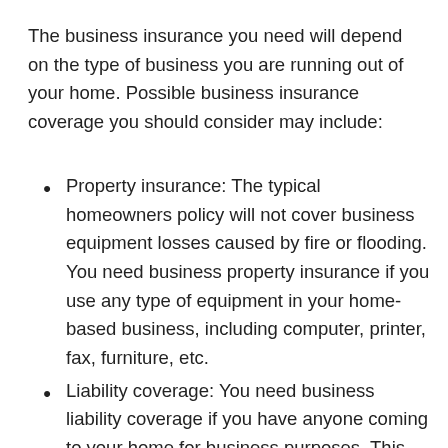The business insurance you need will depend on the type of business you are running out of your home. Possible business insurance coverage you should consider may include:
Property insurance: The typical homeowners policy will not cover business equipment losses caused by fire or flooding. You need business property insurance if you use any type of equipment in your home-based business, including computer, printer, fax, furniture, etc.
Liability coverage: You need business liability coverage if you have anyone coming to your home for business purposes. This can include clients, contractors, and any person making a